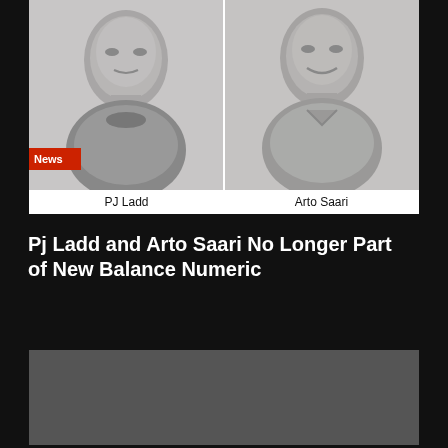[Figure (photo): Black and white headshots of two skateboarders: PJ Ladd on the left and Arto Saari on the right, with a red 'News' badge overlay on the bottom-left of the image]
PJ Ladd                    Arto Saari
Pj Ladd and Arto Saari No Longer Part of New Balance Numeric
[Figure (screenshot): A dark gray video player placeholder block]